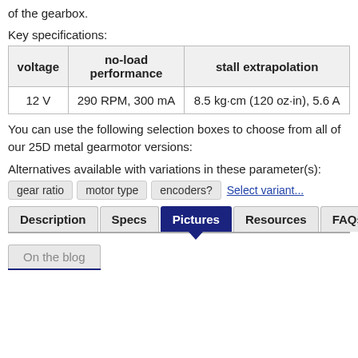of the gearbox.
Key specifications:
| voltage | no-load performance | stall extrapolation |
| --- | --- | --- |
| 12 V | 290 RPM, 300 mA | 8.5 kg·cm (120 oz·in), 5.6 A |
You can use the following selection boxes to choose from all of our 25D metal gearmotor versions:
Alternatives available with variations in these parameter(s):
gear ratio
motor type
encoders?
Select variant...
Description | Specs | Pictures | Resources | FAQs
On the blog